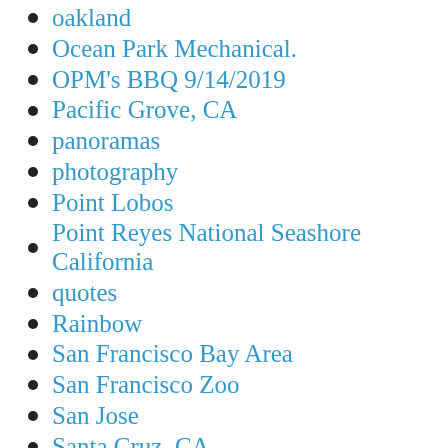oakland
Ocean Park Mechanical.
OPM's BBQ 9/14/2019
Pacific Grove, CA
panoramas
photography
Point Lobos
Point Reyes National Seashore California
quotes
Rainbow
San Francisco Bay Area
San Francisco Zoo
San Jose
Santa Cruz, CA
Seattle
Spring season